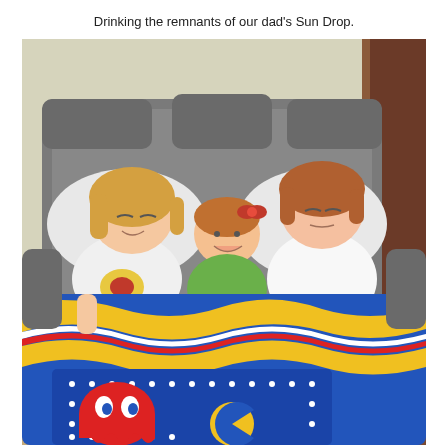Drinking the remnants of our dad's Sun Drop.
[Figure (photo): Vintage photograph of three young children sitting together in a large gray sofa chair, covered with a blue and yellow Pac-Man themed blanket/comforter. The child on the left is a girl with blonde hair wearing a white top with a graphic print. In the middle is a smaller child smiling. On the right is a boy with reddish-brown hair. The blanket features a Pac-Man maze design with a red ghost character visible at the bottom.]